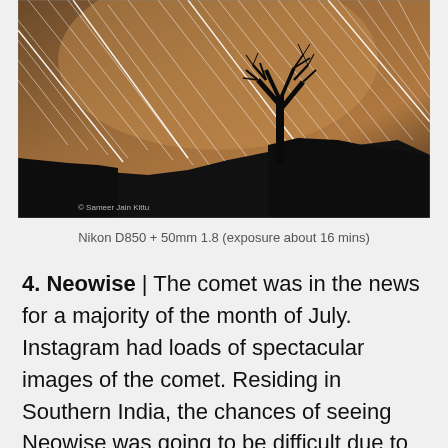[Figure (photo): Long-exposure night sky photograph showing star trails streaking diagonally across a warm brown/amber sky, with a bare tree silhouette in the center-right and dark hillside silhouette at the bottom. Photographer credit: © Sameer Jain Kittu]
Nikon D850 + 50mm 1.8 (exposure about 16 mins)
4. Neowise | The comet was in the news for a majority of the month of July. Instagram had loads of spectacular images of the comet. Residing in Southern India, the chances of seeing Neowise was going to be difficult due to the monsoon. Dark clouds would cover the sky leaving absolutely no